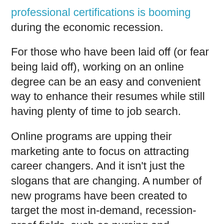professional certifications is booming during the economic recession.
For those who have been laid off (or fear being laid off), working on an online degree can be an easy and convenient way to enhance their resumes while still having plenty of time to job search.
Online programs are upping their marketing ante to focus on attracting career changers. And it isn't just the slogans that are changing. A number of new programs have been created to target the most in-demand, recession-proof fields, such as nursing and education.
Penelope Trunk (one of my favorite career bloggers) is quoted in the article as saying